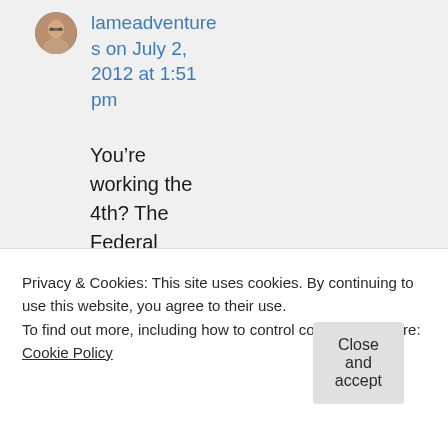[Figure (photo): Small circular avatar photo of a person with glasses]
lameadventures on July 2, 2012 at 1:51 pm
You’re working the 4th? The Federal Government doesn’t give you that day
Privacy & Cookies: This site uses cookies. By continuing to use this website, you agree to their use.
To find out more, including how to control cookies, see here: Cookie Policy
Close and accept